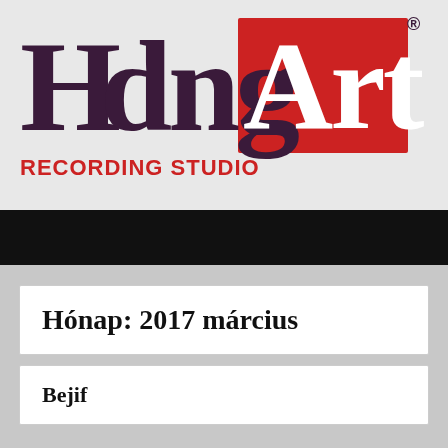[Figure (logo): HangArt Recording Studio logo. 'Hang' in dark purple/maroon large stylized letters, 'Art' in red on a red background rectangle, with a registered trademark symbol. Below in red bold sans-serif: RECORDING STUDIO]
Hónap: 2017 március
Bejif...